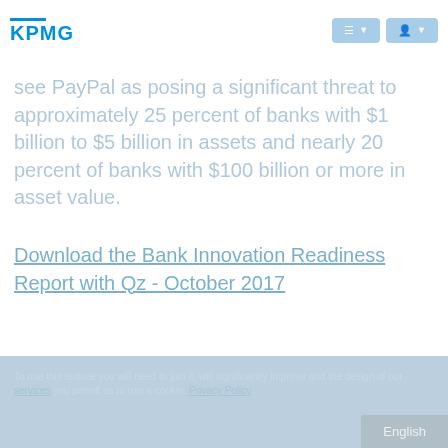KPMG
see PayPal as posing a significant threat to approximately 25 percent of banks with $1 billion to $5 billion in assets and nearly 20 percent of banks with $100 billion or more in asset value.
Download the Bank Innovation Readiness Report with Qz - October 2017
To use this feature you will need to join it, will significantly improve and the design of our services you permit us to use a cookie. Privacy Policy